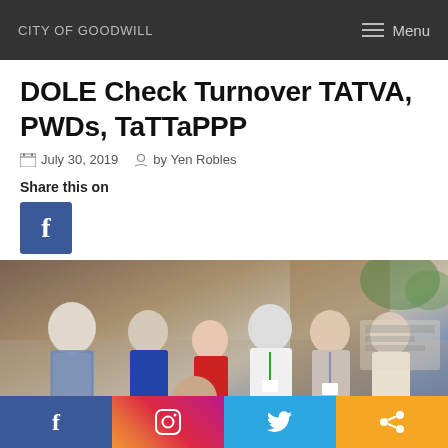CITY OF GOODWILL
DOLE Check Turnover TATVA, PWDs, TaTTaPPP
July 30, 2019  by Yen Robles
Share this on
[Figure (photo): Group of government officials and personnel gathered together looking at documents, outdoors near a building]
Social share bar: Facebook, Instagram, Twitter, Share